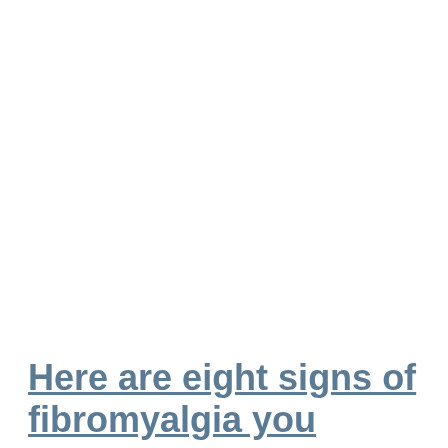Here are eight signs of fibromyalgia you